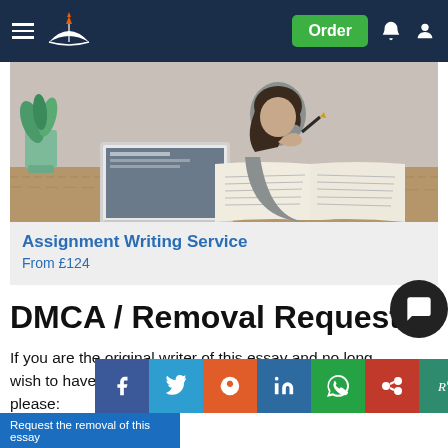UKEssays navigation bar with logo, Order button, notification and account icons
[Figure (photo): Woman sitting at a desk with an open laptop and an open book, with a plant in the background — Assignment Writing Service promotional image]
Assignment Writing Service
From £124
DMCA / Removal Request
If you are the original writer of this essay and no longer wish to have your work published on UKEssays.com please:
[Figure (other): Dark circular chat/support button overlay]
[Figure (infographic): Social share buttons row: Facebook, Twitter, Reddit, LinkedIn, WhatsApp, Mendeley, ResearchGate]
Request the removal of this essay